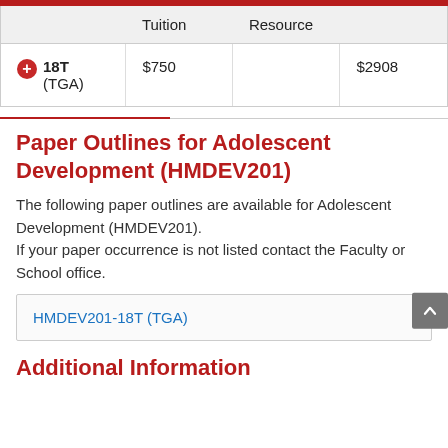|  | Tuition | Resource |  |
| --- | --- | --- | --- |
| 18T (TGA) | $750 |  | $2908 |
Paper Outlines for Adolescent Development (HMDEV201)
The following paper outlines are available for Adolescent Development (HMDEV201). If your paper occurrence is not listed contact the Faculty or School office.
HMDEV201-18T (TGA)
Additional Information